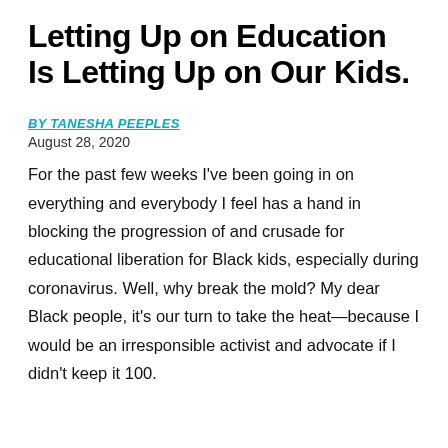Letting Up on Education Is Letting Up on Our Kids.
BY TANESHA PEEPLES
August 28, 2020
For the past few weeks I've been going in on everything and everybody I feel has a hand in blocking the progression of and crusade for educational liberation for Black kids, especially during coronavirus. Well, why break the mold? My dear Black people, it's our turn to take the heat—because I would be an irresponsible activist and advocate if I didn't keep it 100.